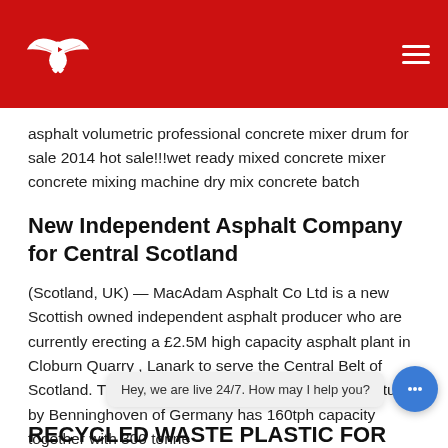[Logo] [Navigation hamburger menu]
asphalt volumetric professional concrete mixer drum for sale 2014 hot sale!!!wet ready mixed concrete mixer concrete mixing machine dry mix concrete batch
New Independent Asphalt Company for Central Scotland
(Scotland, UK) — MacAdam Asphalt Co Ltd is a new Scottish owned independent asphalt producer who are currently erecting a £2.5M high capacity asphalt plant in Cloburn Quarry , Lanark to serve the Central Belt of Scotland. The state of the art asphalt plant manufactured by Benninghoven of Germany has 160tph capacity together with 300 tonne
RECYCLED WASTE PLASTIC FOR